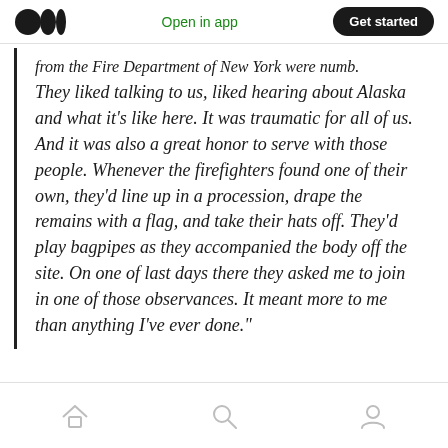Open in app | Get started
from the Fire Department of New York were numb. They liked talking to us, liked hearing about Alaska and what it's like here. It was traumatic for all of us. And it was also a great honor to serve with those people. Whenever the firefighters found one of their own, they'd line up in a procession, drape the remains with a flag, and take their hats off. They'd play bagpipes as they accompanied the body off the site. On one of last days there they asked me to join in one of those observances. It meant more to me than anything I've ever done."
Home | Search | Profile